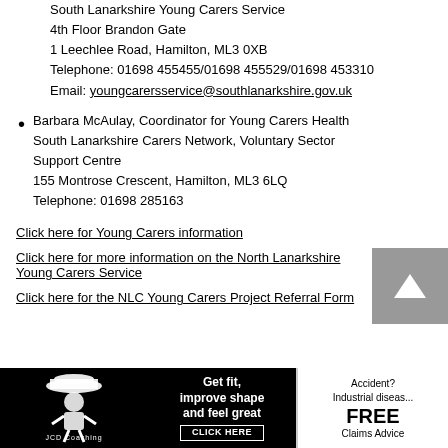South Lanarkshire Young Carers Service
4th Floor Brandon Gate
1 Leechlee Road, Hamilton, ML3 0XB
Telephone: 01698 455455/01698 455529/01698 453310
Email: youngcarersservice@southlanarkshire.gov.uk
Barbara McAulay, Coordinator for Young Carers Health South Lanarkshire Carers Network, Voluntary Sector Support Centre
155 Montrose Crescent, Hamilton, ML3 6LQ
Telephone: 01698 285163
Click here for Young Carers information
Click here for more information on the North Lanarkshire Young Carers Service
Click here for the NLC Young Carers Project Referral Form
[Figure (logo): JCD Coaching logo on black background]
[Figure (infographic): Get fit, improve shape and feel great - CLICK HERE banner on black background]
[Figure (infographic): Accident? Industrial disease. FREE Claims Advice advertisement]